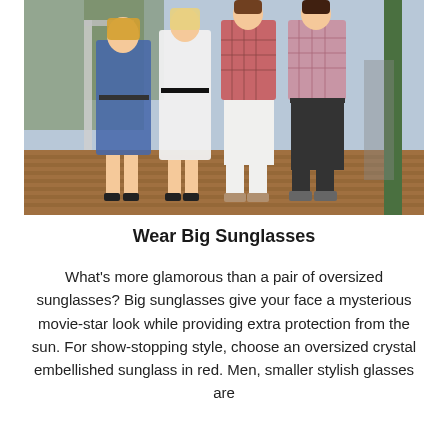[Figure (photo): Group of children and teenagers standing on a wooden deck outdoors. From left to right: a girl in a blue patterned dress, a girl in a white dress, a boy in a gingham/plaid shirt with white pants, and a boy in a plaid shirt with dark pants. Sunny outdoor setting.]
Wear Big Sunglasses
What's more glamorous than a pair of oversized sunglasses? Big sunglasses give your face a mysterious movie-star look while providing extra protection from the sun. For show-stopping style, choose an oversized crystal embellished sunglass in red. Men, smaller stylish glasses are